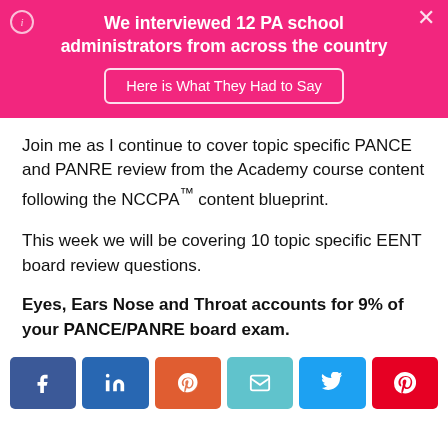[Figure (infographic): Pink banner with text 'We interviewed 12 PA school administrators from across the country' and a button 'Here is What They Had to Say']
Join me as I continue to cover topic specific PANCE and PANRE review from the Academy course content following the NCCPA™ content blueprint.
This week we will be covering 10 topic specific EENT board review questions.
Eyes, Ears Nose and Throat accounts for 9% of your PANCE/PANRE board exam.
[Figure (infographic): Social sharing buttons: Facebook, LinkedIn, Reddit, Email, Twitter, Pinterest]